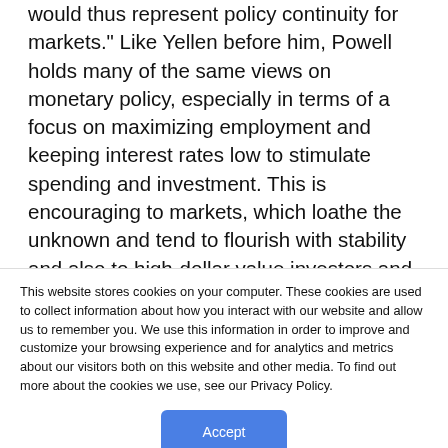would thus represent policy continuity for markets." Like Yellen before him, Powell holds many of the same views on monetary policy, especially in terms of a focus on maximizing employment and keeping interest rates low to stimulate spending and investment. This is encouraging to markets, which loathe the unknown and tend to flourish with stability and also to high-dollar value investors and loan holders, such as real estate developers or mortgage holders, who are aided by low interest
This website stores cookies on your computer. These cookies are used to collect information about how you interact with our website and allow us to remember you. We use this information in order to improve and customize your browsing experience and for analytics and metrics about our visitors both on this website and other media. To find out more about the cookies we use, see our Privacy Policy.